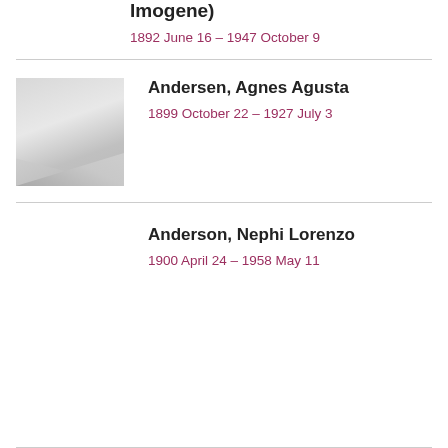Imogene)
1892 June 16 – 1947 October 9
[Figure (photo): Placeholder image with grey gradient landscape silhouette]
Andersen, Agnes Agusta
1899 October 22 – 1927 July 3
Anderson, Nephi Lorenzo
1900 April 24 – 1958 May 11